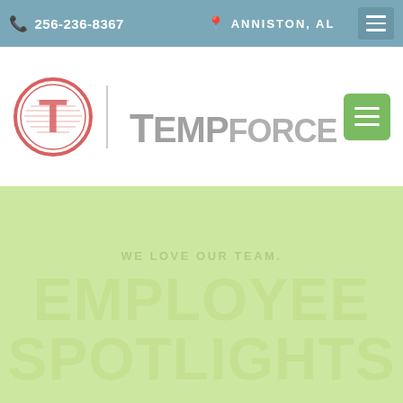256-236-8367  ANNISTON, AL
[Figure (logo): Tempforce company logo with circular T icon in pink/red and gray stylized text reading TEMPFORCE]
WE LOVE OUR TEAM.
EMPLOYEE SPOTLIGHTS